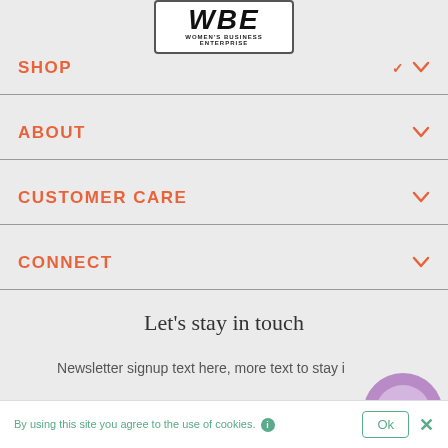[Figure (logo): WBE Women's Business Enterprise logo in a rounded rectangle border]
SHOP
ABOUT
CUSTOMER CARE
CONNECT
Let's stay in touch
Newsletter signup text here, more text to stay in touch
By using this site you agree to the use of cookies.